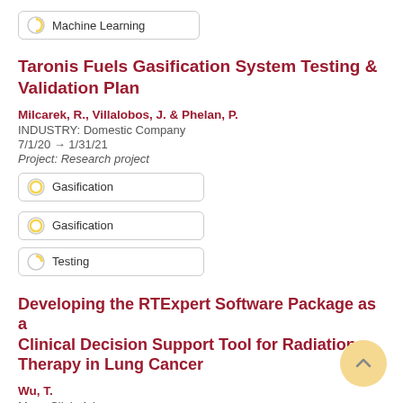Machine Learning
Taronis Fuels Gasification System Testing & Validation Plan
Milcarek, R., Villalobos, J. & Phelan, P.
INDUSTRY: Domestic Company
7/1/20 → 1/31/21
Project: Research project
Gasification
Gasification
Testing
Developing the RTExpert Software Package as a Clinical Decision Support Tool for Radiation Therapy in Lung Cancer
Wu, T.
Mayo Clinic Arizona
8/19/19 → 2/18/21